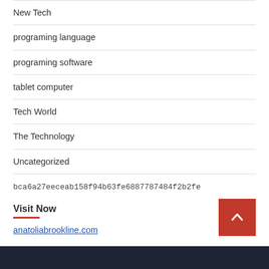New Tech
programing language
programing software
tablet computer
Tech World
The Technology
Uncategorized
bca6a27eeceab158f94b63fe6887787484f2b2fe
Visit Now
anatoliabrookline.com